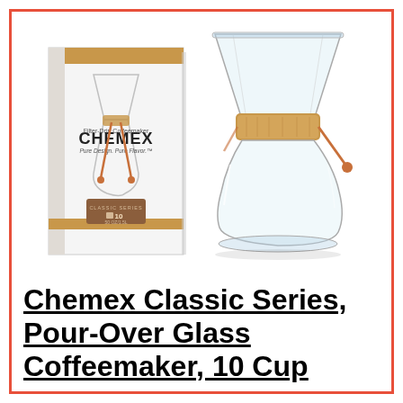[Figure (photo): Product photo of Chemex Classic Series Pour-Over Glass Coffeemaker, 10 Cup. Shows the glass coffeemaker with wooden collar and leather strap tie, alongside its retail box labeled CHEMEX Filter-Drip Coffeemaker, Classic Series, 10 Cup.]
Chemex Classic Series, Pour-Over Glass Coffeemaker, 10 Cup